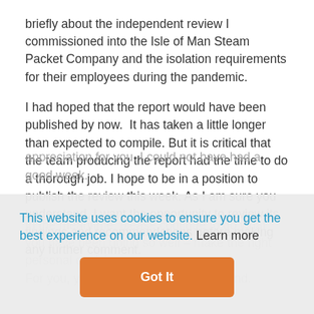briefly about the independent review I commissioned into the Isle of Man Steam Packet Company and the isolation requirements for their employees during the pandemic.
I had hoped that the report would have been published by now.  It has taken a little longer than expected to compile. But it is critical that the team producing the report had the time to do a thorough job. I hope to be in a position to publish the review this week. As I am sure you understand, I want the opportunity to review its findings and recommendations before making any further comment.
appreciation for you. I could not have had a good week.
In the meantime, please continue to do what you have been doing so well – make the right personal decisions. For you, your loved ones and your Island.
This website uses cookies to ensure you get the best experience on our website. Learn more
Got It